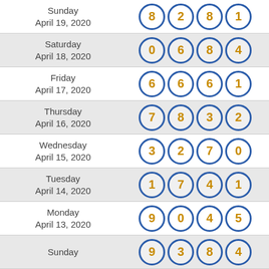| Date | Numbers |
| --- | --- |
| Sunday April 19, 2020 | 8 2 8 1 |
| Saturday April 18, 2020 | 0 6 8 4 |
| Friday April 17, 2020 | 6 6 6 1 |
| Thursday April 16, 2020 | 7 8 3 2 |
| Wednesday April 15, 2020 | 3 2 7 0 |
| Tuesday April 14, 2020 | 1 7 4 1 |
| Monday April 13, 2020 | 9 0 4 5 |
| Sunday April 12, 2020 | 9 3 8 4 |